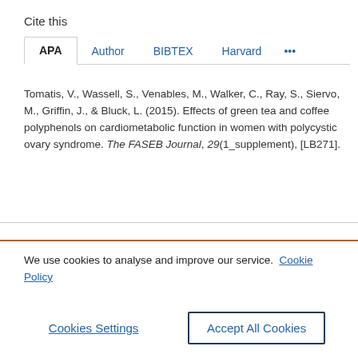Cite this
APA  Author  BIBTEX  Harvard  ...
Tomatis, V., Wassell, S., Venables, M., Walker, C., Ray, S., Siervo, M., Griffin, J., & Bluck, L. (2015). Effects of green tea and coffee polyphenols on cardiometabolic function in women with polycystic ovary syndrome. The FASEB Journal, 29(1_supplement), [LB271].
We use cookies to analyse and improve our service. Cookie Policy
Cookies Settings
Accept All Cookies